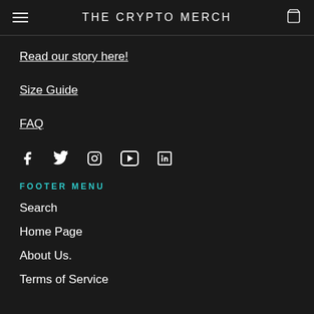THE CRYPTO MERCH
Read our story here!
Size Guide
FAQ
[Figure (other): Social media icons: Facebook, Twitter, Instagram, YouTube, LinkedIn]
FOOTER MENU
Search
Home Page
About Us.
Terms of Service